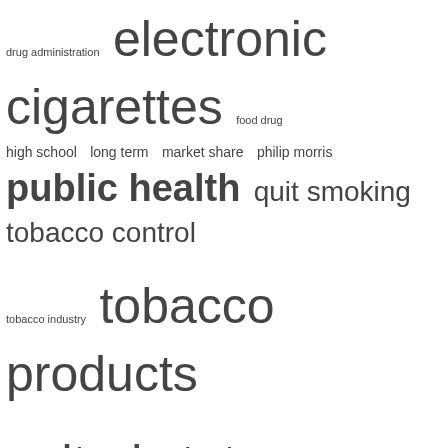[Figure (infographic): Tag cloud with tobacco/health related keywords in varying font sizes: drug administration, electronic cigarettes, food drug, high school, long term, market share, philip morris, public health, quit smoking, tobacco control, tobacco industry, tobacco products, united states, vaping products, young people]
RECENT POSTS
Best Payday Loan Online The Top 4 Same-Day Payment lenders for quick cash approval Find Online Installment Loans and Personal Loans for bad credit in February 2022
Menstrual cup market sales in Burgeon as governments target
Debt consolidation in times of uncertainty